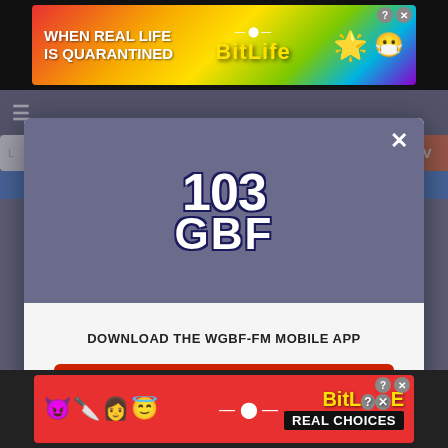[Figure (screenshot): Top advertisement banner for BitLife game with rainbow gradient background and text 'WHEN REAL LIFE IS QUARANTINED' with BitLife logo]
[Figure (screenshot): Website background showing hamburger menu, search bar, TV button, and blue bar]
[Figure (screenshot): Modal dialog for 103 GBF (WGBF-FM) radio station app download prompt with logo, download button, and Amazon Alexa option]
DOWNLOAD THE WGBF-FM MOBILE APP
GET OUR FREE MOBILE APP
Also listen on:  amazon alexa
[Figure (screenshot): Bottom advertisement banner for BitLife game with emoji characters and 'REAL CHOICES' text]